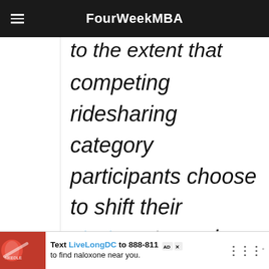FourWeekMBA
to the extent that competing ridesharing category participants choose to shift their strategy towards shorter-term
Text LiveLongDC to 888-811 to find naloxone near you.